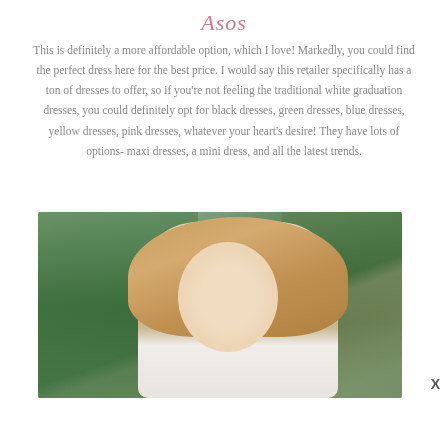Asos
This is definitely a more affordable option, which I love! Markedly, you could find the perfect dress here for the best price. I would say this retailer specifically has a ton of dresses to offer, so if you're not feeling the traditional white graduation dresses, you could definitely opt for black dresses, green dresses, blue dresses, yellow dresses, pink dresses, whatever your heart's desire! They have lots of options- maxi dresses, a mini dress, and all the latest trends.
[Figure (photo): A smiling blonde woman outdoors in front of evergreen trees, wearing a light-colored outfit.]